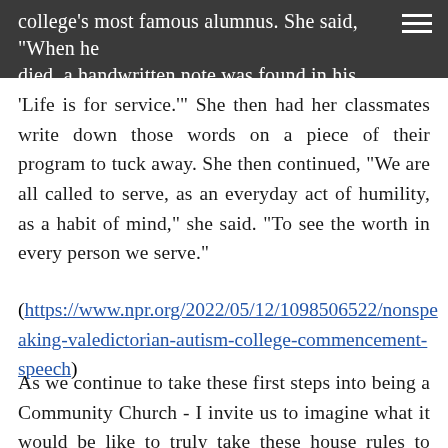college's most famous alumnus. She said, "When he died, a handwritten note was found in his wallet. It said,
'Life is for service.'" She then had her classmates write down those words on a piece of their program to tuck away. She then continued, "We are all called to serve, as an everyday act of humility, as a habit of mind," she said. "To see the worth in every person we serve."
(https://www.npr.org/2022/05/12/1098506522/nonspeaking-valedictorian-autism-college-commencement-speech)
As we continue to take these first steps into being a Community Church - I invite us to imagine what it would be like to truly take these house rules to heart - what a shared life together looks like even when it may